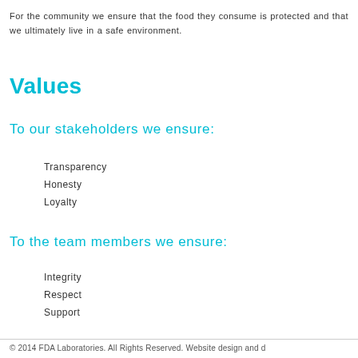For the community we ensure that the food they consume is protected and that we ultimately live in a safe environment.
Values
To our stakeholders we ensure:
Transparency
Honesty
Loyalty
To the team members we ensure:
Integrity
Respect
Support
© 2014 FDA Laboratories. All Rights Reserved. Website design and d